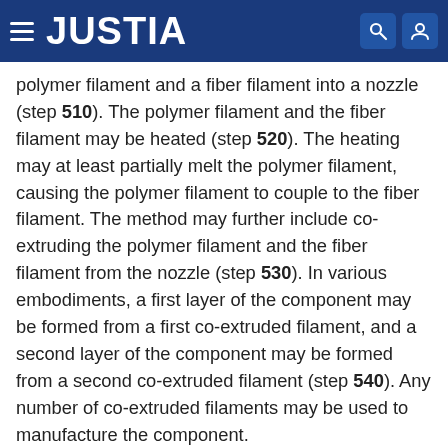JUSTIA
polymer filament and a fiber filament into a nozzle (step 510). The polymer filament and the fiber filament may be heated (step 520). The heating may at least partially melt the polymer filament, causing the polymer filament to couple to the fiber filament. The method may further include co-extruding the polymer filament and the fiber filament from the nozzle (step 530). In various embodiments, a first layer of the component may be formed from a first co-extruded filament, and a second layer of the component may be formed from a second co-extruded filament (step 540). Any number of co-extruded filaments may be used to manufacture the component.
Benefits, other advantages, and solutions to problems have been described herein with regard to specific embodiments. Furthermore, the connecting lines shown